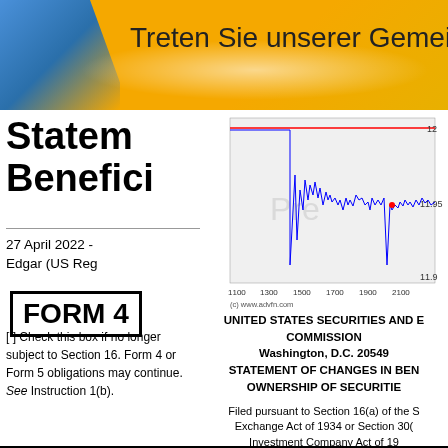[Figure (other): Yellow and blue banner header with German text 'Treten Sie unserer Gemeinsch...' (Join our community...)]
[Figure (continuous-plot): Stock price line chart showing intraday price movements between approximately 1100 and 2100 time range, price range approximately 11.9 to 12. Red horizontal line at top, blue line chart with volatile movements, red dot near 1950 at about 11.95. X-axis labels: 1100, 1300, 1500, 1700, 1900, 2100. Y-axis: 12, 11.95, 11.9. Watermark 'Pre' in gray. Copyright (c) www.advfn.com]
Statement of Changes in Beneficial Ownership
27 April 2022 - Edgar (US Reg...
FORM 4
[ ] Check this box if no longer subject to Section 16. Form 4 or Form 5 obligations may continue. See Instruction 1(b).
UNITED STATES SECURITIES AND EXCHANGE COMMISSION
Washington, D.C. 20549
STATEMENT OF CHANGES IN BENEFICIAL OWNERSHIP OF SECURITIES
Filed pursuant to Section 16(a) of the Securities Exchange Act of 1934 or Section 30(f) of the Investment Company Act of 19...